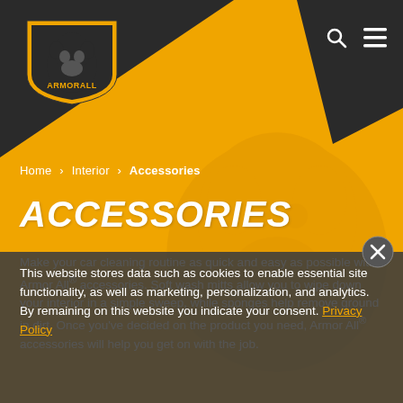[Figure (logo): Armor All logo — yellow shield with gorilla mascot in black outline]
Home › Interior › Accessories
ACCESSORIES
Make your car cleaning routine as quick and easy as possible with Armor All® accessories. Soft wash mitts allow you to wipe down your interior in a simple sweep, while sponges help remove ground in dirt. Once you've decided on the product you need, Armor All® accessories will help you get on with the job.
This website stores data such as cookies to enable essential site functionality, as well as marketing, personalization, and analytics. By remaining on this website you indicate your consent. Privacy Policy